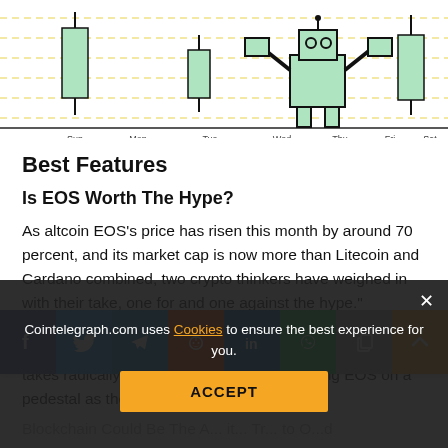[Figure (illustration): Cartoon weekly chart illustration with candlestick-like figures for Sun, Mon, Tue, Wed, Thu, Fri, Sat, with dashed yellow horizontal lines and a robot/character figure in the center on Wed]
Best Features
Is EOS Worth The Hype?
As altcoin EOS's price has risen this month by around 70 percent, and its market cap is now more than Litecoin and Cardano combined, two crypto thinkers have weighed in with their take, one for and one against the hype.” Managing editor at Crypto Chat Matt Leibowitz thinks it isn’t—EOS: Don’t Believe The Hype—while Daniel Jeffries takes radically diametric points of view, putting EOS on a pedestal as the Golden Dawn. Blockchain Could Be The A... it... Tr... to O...d
[Figure (infographic): Social share buttons row: Facebook (blue), Twitter (light blue), Telegram (blue), Reddit (orange), LinkedIn (dark blue), WhatsApp (green), Copy (grey), Scroll up/arrow (yellow/gold)]
Cointelegraph.com uses Cookies to ensure the best experience for you.